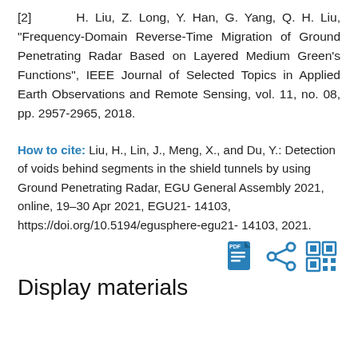[2] H. Liu, Z. Long, Y. Han, G. Yang, Q. H. Liu, "Frequency-Domain Reverse-Time Migration of Ground Penetrating Radar Based on Layered Medium Green's Functions", IEEE Journal of Selected Topics in Applied Earth Observations and Remote Sensing, vol. 11, no. 08, pp. 2957-2965, 2018.
How to cite: Liu, H., Lin, J., Meng, X., and Du, Y.: Detection of voids behind segments in the shield tunnels by using Ground Penetrating Radar, EGU General Assembly 2021, online, 19–30 Apr 2021, EGU21-14103, https://doi.org/10.5194/egusphere-egu21-14103, 2021.
[Figure (other): Three icon buttons: PDF download icon, share icon, and QR code icon, displayed in blue.]
Display materials